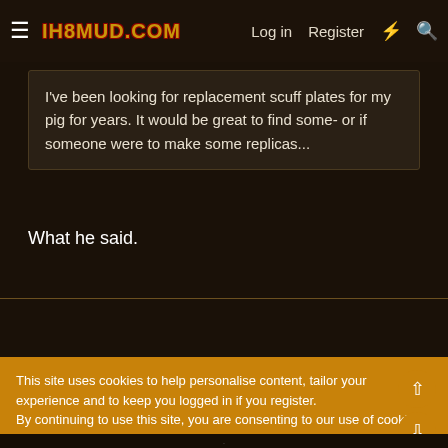IH8MUD.COM | Log in | Register
I've been looking for replacement scuff plates for my pig for years. It would be great to find some- or if someone were to make some replicas...
What he said.
This site uses cookies to help personalise content, tailor your experience and to keep you logged in if you register.
By continuing to use this site, you are consenting to our use of cookies.
Accept | Learn more...